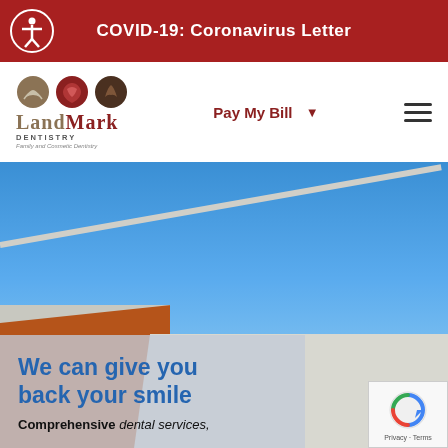COVID-19: Coronavirus Letter
[Figure (logo): Landmark Dentistry logo with three circular icons and text reading LANDMARK DENTISTRY, Family and Cosmetic Dentistry]
Pay My Bill ▾
[Figure (photo): Exterior photo of a brick building with white facade against a blue sky, showing the Landmark Dentistry building exterior]
We can give you back your smile
Comprehensive dental services,